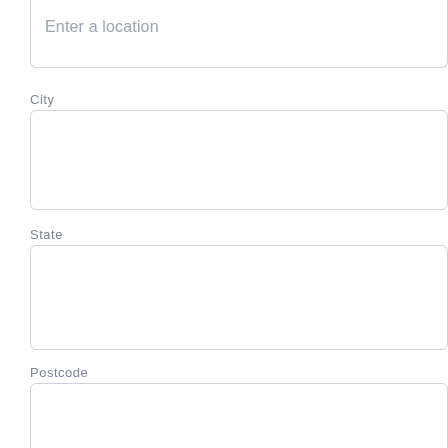Enter a location
City
State
Postcode